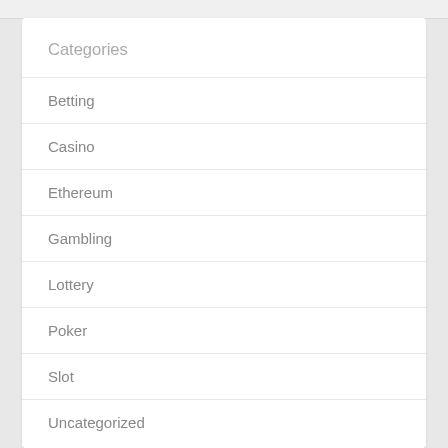Categories
Betting
Casino
Ethereum
Gambling
Lottery
Poker
Slot
Uncategorized